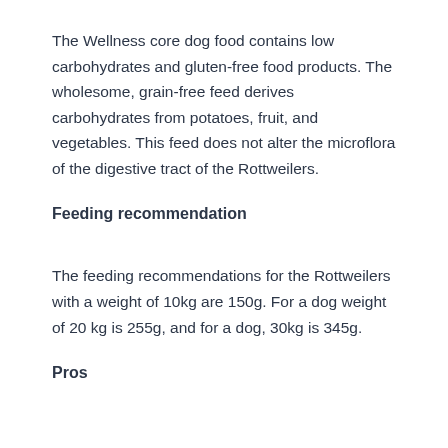The Wellness core dog food contains low carbohydrates and gluten-free food products. The wholesome, grain-free feed derives carbohydrates from potatoes, fruit, and vegetables. This feed does not alter the microflora of the digestive tract of the Rottweilers.
Feeding recommendation
The feeding recommendations for the Rottweilers with a weight of 10kg are 150g. For a dog weight of 20 kg is 255g, and for a dog, 30kg is 345g.
Pros